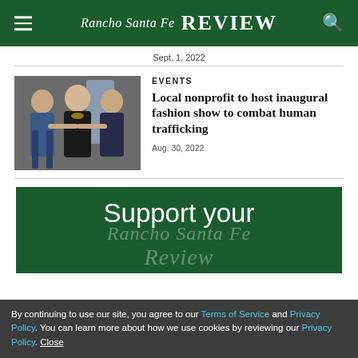Rancho Santa Fe Review
Sept. 1, 2022
[Figure (photo): Woman posing with two young boys in formal attire at an event]
EVENTS
Local nonprofit to host inaugural fashion show to combat human trafficking
Aug. 30, 2022
[Figure (other): Dark green advertisement banner reading 'Support your Rancho Santa Fe Review']
By continuing to use our site, you agree to our Terms of Service and Privacy Policy. You can learn more about how we use cookies by reviewing our Privacy Policy. Close